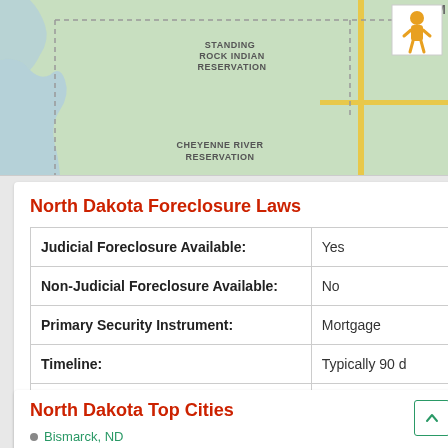[Figure (map): Map showing North Dakota region with Standing Rock Indian Reservation, Cheyenne River Reservation, Lake Traverse Reservation labels, yellow road lines, dashed borders, and a person/pegman icon in top-right corner.]
North Dakota Foreclosure Laws
|  |  |
| --- | --- |
| Judicial Foreclosure Available: | Yes |
| Non-Judicial Foreclosure Available: | No |
| Primary Security Instrument: | Mortgage |
| Timeline: | Typically 90 d |
| Right of Redemption: | Yes |
| Deficiency Judgments Allowed: | Yes |
North Dakota Top Cities
Bismarck, ND